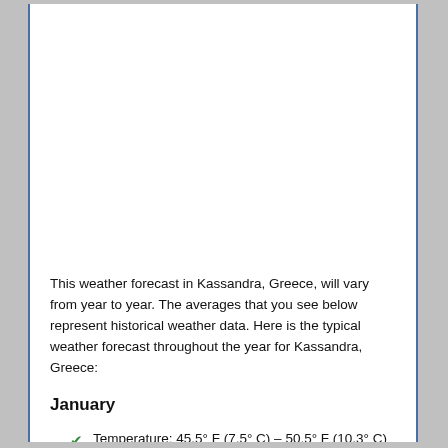This weather forecast in Kassandra, Greece, will vary from year to year. The averages that you see below represent historical weather data. Here is the typical weather forecast throughout the year for Kassandra, Greece:
January
Temperature: 45.5° F (7.5° C) – 50.5° F (10.3° C)
Precipitation: 44 mm
Climate: 12.7 days of rain on average, 9.7 hours of